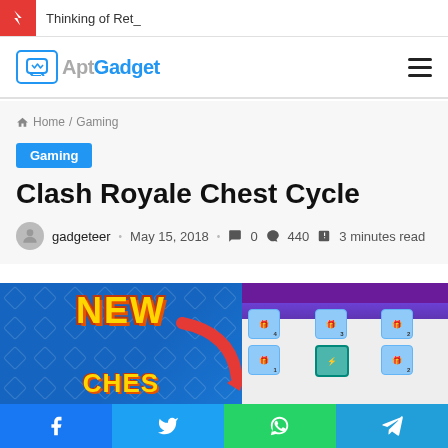Thinking of Ret_
AptGadget
Home / Gaming
Gaming
Clash Royale Chest Cycle
gadgeteer · May 15, 2018 · 0 · 440 · 3 minutes read
[Figure (screenshot): Clash Royale Chest Cycle game screenshot showing 'NEW CHEST' text on a blue background with a red arrow pointing to a grid of chest icons]
Facebook Twitter WhatsApp Telegram share buttons